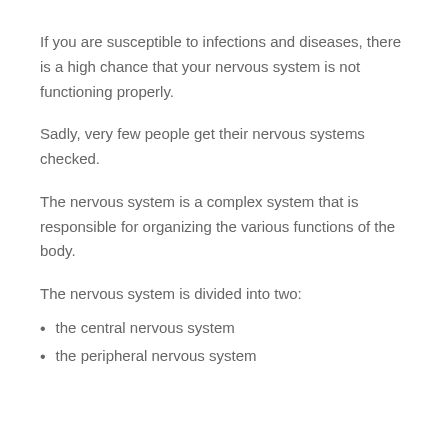If you are susceptible to infections and diseases, there is a high chance that your nervous system is not functioning properly.
Sadly, very few people get their nervous systems checked.
The nervous system is a complex system that is responsible for organizing the various functions of the body.
The nervous system is divided into two:
the central nervous system
the peripheral nervous system